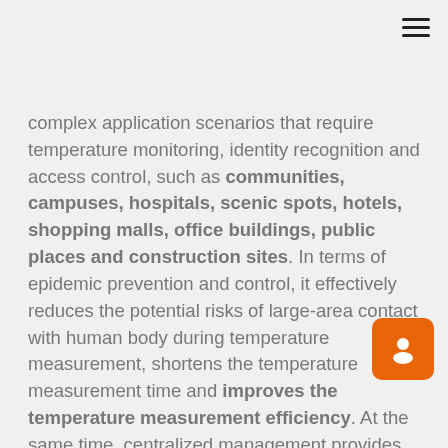complex application scenarios that require temperature monitoring, identity recognition and access control, such as communities, campuses, hospitals, scenic spots, hotels, shopping malls, office buildings, public places and construction sites. In terms of epidemic prevention and control, it effectively reduces the potential risks of large-area contact with human body during temperature measurement, shortens the temperature measurement time and improves the temperature measurement efficiency. At the same time, centralized management provides real-time data support for the screening and tracing of suspected patients and